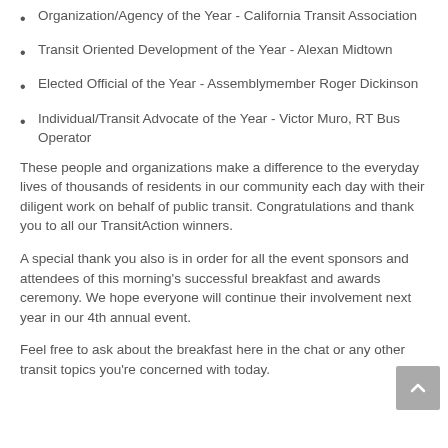Organization/Agency of the Year - California Transit Association
Transit Oriented Development of the Year - Alexan Midtown
Elected Official of the Year - Assemblymember Roger Dickinson
Individual/Transit Advocate of the Year - Victor Muro, RT Bus Operator
These people and organizations make a difference to the everyday lives of thousands of residents in our community each day with their diligent work on behalf of public transit. Congratulations and thank you to all our TransitAction winners.
A special thank you also is in order for all the event sponsors and attendees of this morning's successful breakfast and awards ceremony. We hope everyone will continue their involvement next year in our 4th annual event.
Feel free to ask about the breakfast here in the chat or any other transit topics you're concerned with today.